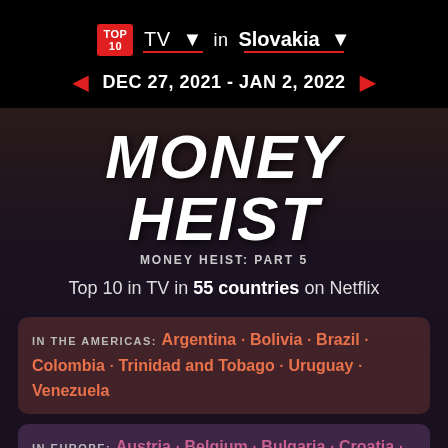TOP 10 | TV ▾ | in | Slovakia ▾
DEC 27, 2021 - JAN 2, 2022
MONEY HEIST
MONEY HEIST: PART 5
Top 10 in TV in 55 countries on Netflix
IN THE AMERICAS: Argentina · Bolivia · Brazil · Colombia · Trinidad and Tobago · Uruguay · Venezuela
IN EUROPE: Austria · Belgium · Bulgaria · Croatia · Czech Republic · Finland · France · Germany · Greece · Hungary · Italy · Latvia · Lithuania · Luxembourg · Malta · Netherlands · Poland · Portugal · Romania · Russia · Serbia · Slovakia